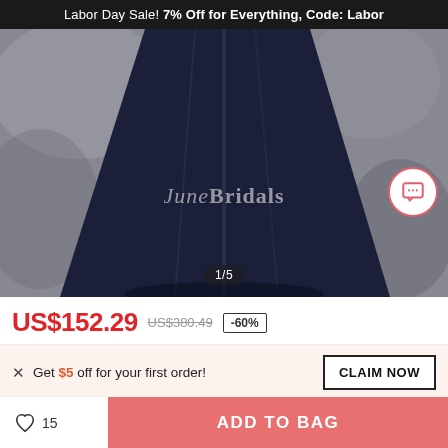Labor Day Sale! 7% Off for Everything, Code: Labor
[Figure (photo): Product photo of a navy blue bridesmaid/evening gown with JuneBridals watermark, image counter showing 1/5]
US$152.29  US$380.49  -60%
× Get $5 off for your first order!  CLAIM NOW
♡ 15   ADD TO BAG